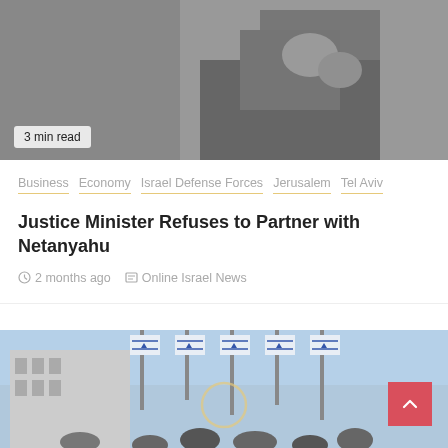[Figure (photo): Grayscale photo of a person in a suit, partially visible, with hands raised near face]
3 min read
Business   Economy   Israel Defense Forces   Jerusalem   Tel Aviv
Justice Minister Refuses to Partner with Netanyahu
2 months ago   Online Israel News
[Figure (photo): Crowd of people waving Israeli flags outside a building with blue sky]